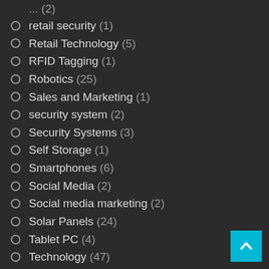retail security (1)
Retail Technology (5)
RFID Tagging (1)
Robotics (25)
Sales and Marketing (1)
security system (2)
Security Systems (3)
Self Storage (1)
Smartphones (6)
Social Media (2)
Social media marketing (2)
Solar Panels (24)
Tablet PC (4)
Technology (47)
Technology and Energy (7)
Technology in Business Videos (15)
Technology News (342)
The Future of Transport (3)